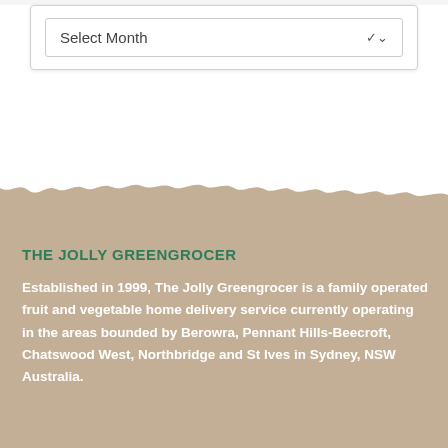[Figure (screenshot): A dropdown widget with label 'Select Month' and a chevron arrow, inside a white card with shadow]
THE JOLLY GREENGROCER
Established in 1999, The Jolly Greengrocer is a family operated fruit and vegetable home delivery service currently operating in the areas bounded by Berowra, Pennant Hills-Beecroft, Chatswood West, Northbridge and St Ives in Sydney, NSW Australia.